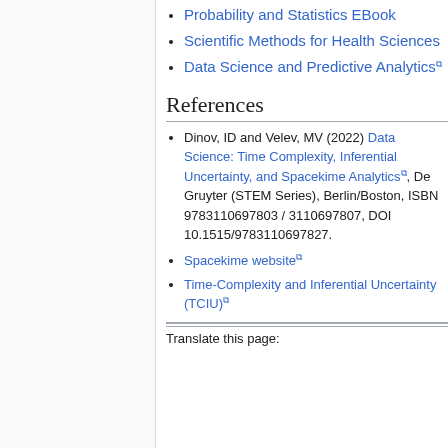Probability and Statistics EBook
Scientific Methods for Health Sciences
Data Science and Predictive Analytics
References
Dinov, ID and Velev, MV (2022) Data Science: Time Complexity, Inferential Uncertainty, and Spacekime Analytics, De Gruyter (STEM Series), Berlin/Boston, ISBN 9783110697803 / 3110697807, DOI 10.1515/9783110697827.
Spacekime website
Time-Complexity and Inferential Uncertainty (TCIU)
Translate this page: